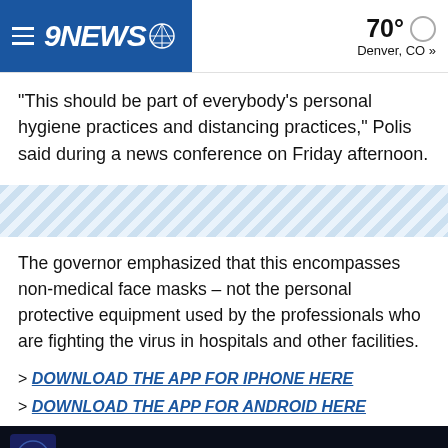9NEWS — 70° Denver, CO »
“This should be part of everybody’s personal hygiene practices and distancing practices,” Polis said during a news conference on Friday afternoon.
[Figure (other): Diagonal stripe decorative divider in light blue]
The governor emphasized that this encompasses non-medical face masks – not the personal protective equipment used by the professionals who are fighting the virus in hospitals and other facilities.
> DOWNLOAD THE APP FOR IPHONE HERE
> DOWNLOAD THE APP FOR ANDROID HERE
[Figure (screenshot): Video thumbnail showing 9NEWS logo and text 'Colorado governor to provide updat' on dark background]